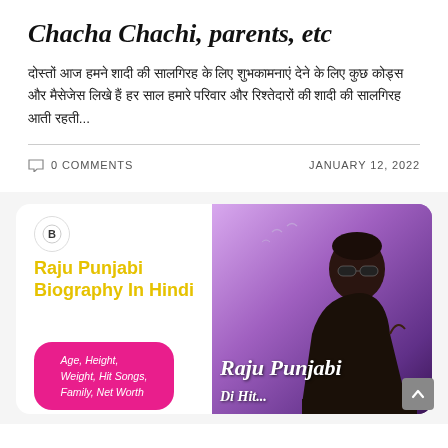Chacha Chachi, parents, etc
दोस्तों आज हमने शादी की सालगिरह के लिए शुभकामनाएं देने के लिए कुछ कोड्स और मैसेजेस लिखे हैं हर साल हमारे परिवार और रिश्तेदारों की शादी की सालगिरह आती रहती...
0 COMMENTS    JANUARY 12, 2022
[Figure (illustration): Promotional card for Raju Punjabi Biography In Hindi featuring yellow bold title text, a pink blob with text 'Age, Height, Weight, Hit Songs, Family, Net Worth', a circular logo, and a photo of a man in sunglasses and black outfit against a purple background with 'Raju Punjabi' text overlay]